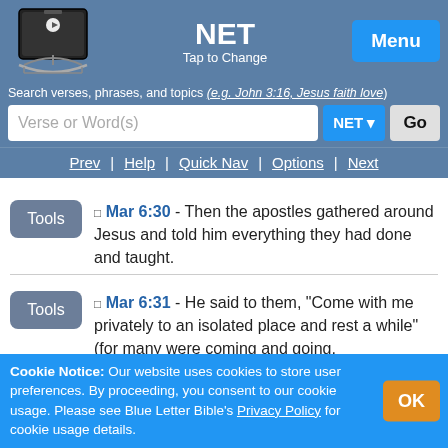NET — Tap to Change — Menu
Search verses, phrases, and topics (e.g. John 3:16, Jesus faith love)
Verse or Word(s)  NET  Go
Prev | Help | Quick Nav | Options | Next
Mar 6:30 - Then the apostles gathered around Jesus and told him everything they had done and taught.
Mar 6:31 - He said to them, "Come with me privately to an isolated place and rest a while" (for many were coming and going,
Cookie Notice: Our website uses cookies to store user preferences. By proceeding, you consent to our cookie usage. Please see Blue Letter Bible's Privacy Policy for cookie usage details.